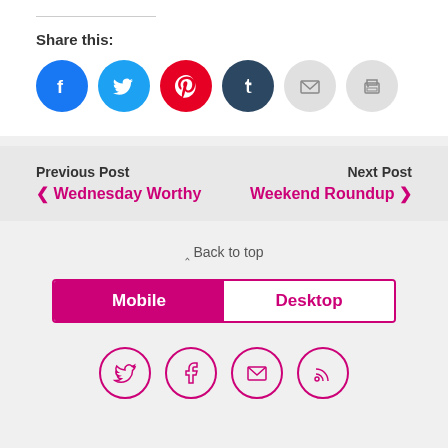Share this:
[Figure (infographic): Row of social share icon buttons: Facebook (blue), Twitter (light blue), Pinterest (red), Tumblr (dark navy), Email (light gray), Print (light gray)]
[Figure (infographic): Post navigation bar with Previous Post (Wednesday Worthy) on the left and Next Post (Weekend Roundup) on the right, on gray background]
Back to top
[Figure (infographic): Mobile/Desktop tab switcher with Mobile selected (magenta background) and Desktop unselected (white background with magenta border)]
[Figure (infographic): Footer social icons row: Twitter, Facebook, Email, RSS — all as outline circles in magenta]